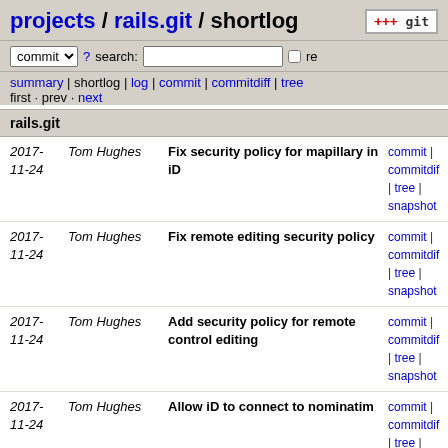projects / rails.git / shortlog
commit ▼ ? search:  re
summary | shortlog | log | commit | commitdiff | tree
first · prev · next
rails.git
| Date | Author | Message | Links |
| --- | --- | --- | --- |
| 2017-11-24 | Tom Hughes | Fix security policy for mapillary in iD | commit | commitdiff | tree | snapshot |
| 2017-11-24 | Tom Hughes | Fix remote editing security policy | commit | commitdiff | tree | snapshot |
| 2017-11-24 | Tom Hughes | Add security policy for remote control editing | commit | commitdiff | tree | snapshot |
| 2017-11-24 | Tom Hughes | Allow iD to connect to nominatim | commit | commitdiff | tree | snapshot |
| 2017-11-23 | Tom Hughes | Allow third party images in user content | commit | commitdiff | tree | snapshot |
| 2017-11-23 | Tom Hughes | Allow images to be loaded from piwik | commit | commitdiff | tree | snapshot |
| 2017-11-23 | Tom Hughes | Merge remote-tracking branch 'upstream/pull/1687' | commit | commitdiff | tree |